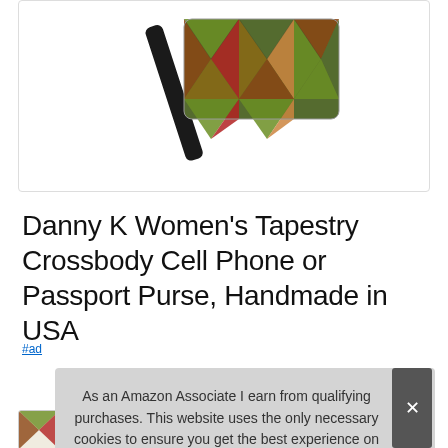[Figure (photo): Product photo of a tapestry crossbody purse with a diamond/argyle pattern in green, red, orange, and brown colors, with a black strap, displayed on a white background inside a bordered box.]
Danny K Women's Tapestry Crossbody Cell Phone or Passport Purse, Handmade in USA
#ad
As an Amazon Associate I earn from qualifying purchases. This website uses the only necessary cookies to ensure you get the best experience on our website. More information